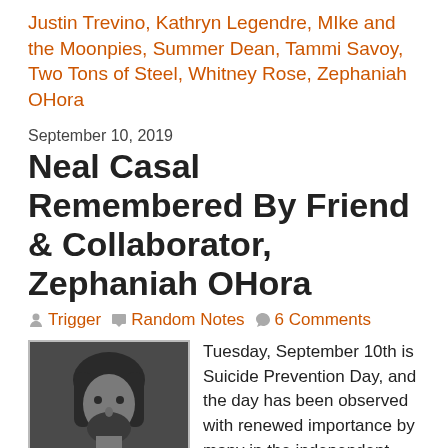Justin Trevino, Kathryn Legendre, MIke and the Moonpies, Summer Dean, Tammi Savoy, Two Tons of Steel, Whitney Rose, Zephaniah OHora
September 10, 2019
Neal Casal Remembered By Friend & Collaborator, Zephaniah OHora
Trigger   Random Notes   6 Comments
[Figure (photo): Black and white photo of a bearded man with long hair wearing a plaid shirt]
Tuesday, September 10th is Suicide Prevention Day, and the day has been observed with renewed importance by many in the independent country and roots world after the recent passing of songwriter, player, and producer Neal Casal. The 50-year-old took his